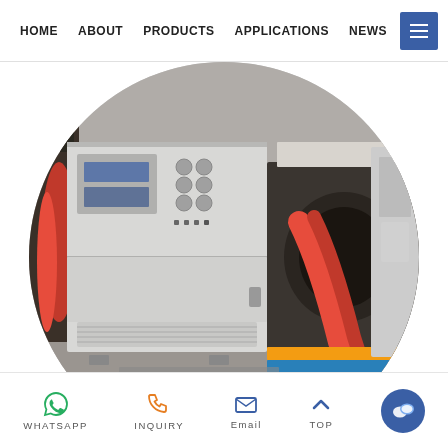HOME  ABOUT  PRODUCTS  APPLICATIONS  NEWS
[Figure (photo): Industrial battery testing or power conditioning equipment in a workshop setting, shown in a circular crop. Large light-grey cabinet units with control panels visible on the left, and machinery with bright red cables on the right, placed on a blue/yellow platform. Industrial floor and shelving visible in background.]
Supporting for Chongqing Changan Automobile Battery Workshop
WHATSAPP  INQUIRY  Email  TOP